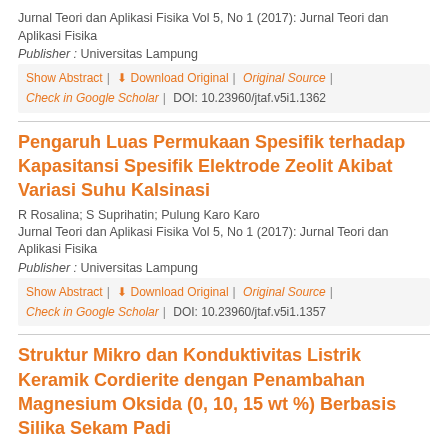Jurnal Teori dan Aplikasi Fisika Vol 5, No 1 (2017): Jurnal Teori dan Aplikasi Fisika
Publisher : Universitas Lampung
Show Abstract | Download Original | Original Source | Check in Google Scholar | DOI: 10.23960/jtaf.v5i1.1362
Pengaruh Luas Permukaan Spesifik terhadap Kapasitansi Spesifik Elektrode Zeolit Akibat Variasi Suhu Kalsinasi
R Rosalina; S Suprihatin; Pulung Karo Karo
Jurnal Teori dan Aplikasi Fisika Vol 5, No 1 (2017): Jurnal Teori dan Aplikasi Fisika
Publisher : Universitas Lampung
Show Abstract | Download Original | Original Source | Check in Google Scholar | DOI: 10.23960/jtaf.v5i1.1357
Struktur Mikro dan Konduktivitas Listrik Keramik Cordierite dengan Penambahan Magnesium Oksida (0, 10, 15 wt %) Berbasis Silika Sekam Padi
Ade Lia Tristiana; Simon Sembiring; Wasinton Simanjuntak